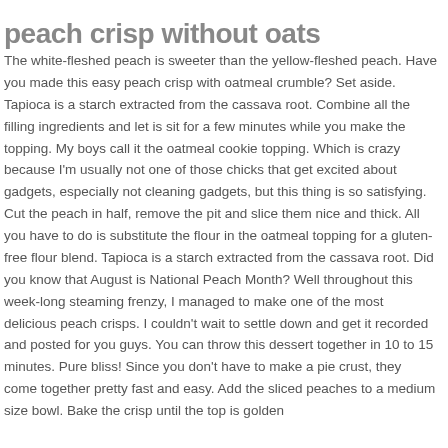peach crisp without oats
The white-fleshed peach is sweeter than the yellow-fleshed peach. Have you made this easy peach crisp with oatmeal crumble? Set aside. Tapioca is a starch extracted from the cassava root. Combine all the filling ingredients and let is sit for a few minutes while you make the topping. My boys call it the oatmeal cookie topping. Which is crazy because I'm usually not one of those chicks that get excited about gadgets, especially not cleaning gadgets, but this thing is so satisfying. Cut the peach in half, remove the pit and slice them nice and thick. All you have to do is substitute the flour in the oatmeal topping for a gluten-free flour blend. Tapioca is a starch extracted from the cassava root. Did you know that August is National Peach Month? Well throughout this week-long steaming frenzy, I managed to make one of the most delicious peach crisps. I couldn't wait to settle down and get it recorded and posted for you guys. You can throw this dessert together in 10 to 15 minutes. Pure bliss! Since you don't have to make a pie crust, they come together pretty fast and easy. Add the sliced peaches to a medium size bowl. Bake the crisp until the top is golden